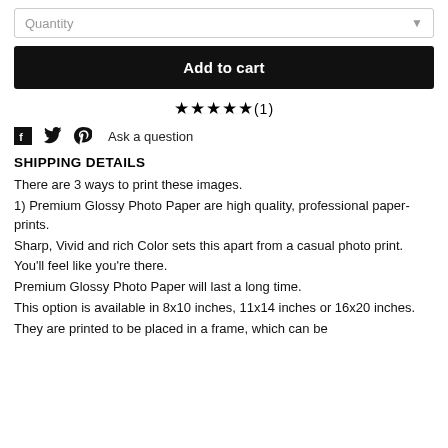Quantity
Add to cart
★★★★★(1)
Ask a question
SHIPPING DETAILS
There are 3 ways to print these images.
1) Premium Glossy Photo Paper are high quality, professional paper-prints.
Sharp, Vivid and rich Color sets this apart from a casual photo print.
You'll feel like you're there.
Premium Glossy Photo Paper will last a long time.
This option is available in 8x10 inches, 11x14 inches or 16x20 inches.
They are printed to be placed in a frame, which can be...